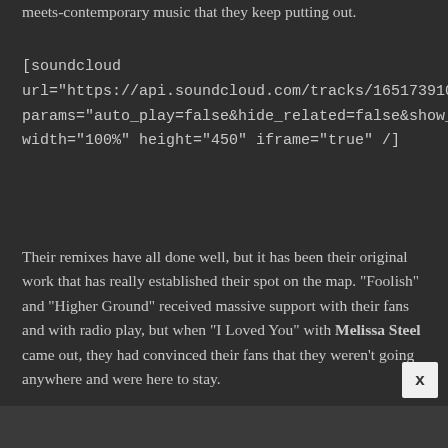meets-contemporary music that they keep putting out.
[soundcloud url="https://api.soundcloud.com/tracks/165173910" params="auto_play=false&hide_related=false&show_comme... width="100%" height="450" iframe="true" /]
Their remixes have all done well, but it has been their original work that has really established their spot on the map. "Foolish" and "Higher Ground" received massive support with their fans and with radio play, but when "I Loved You" with Melissa Steel came out, they had convinced their fans that they weren't going anywhere and were here to stay.